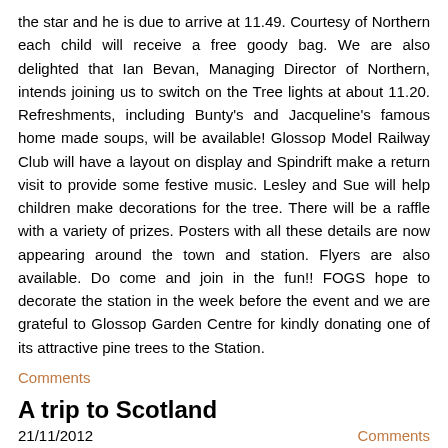the star and he is due to arrive at 11.49. Courtesy of Northern each child will receive a free goody bag. We are also delighted that Ian Bevan, Managing Director of Northern, intends joining us to switch on the Tree lights at about 11.20. Refreshments, including Bunty's and Jacqueline's famous home made soups, will be available! Glossop Model Railway Club will have a layout on display and Spindrift make a return visit to provide some festive music. Lesley and Sue will help children make decorations for the tree. There will be a raffle with a variety of prizes. Posters with all these details are now appearing around the town and station. Flyers are also available. Do come and join in the fun!! FOGS hope to decorate the station in the week before the event and we are grateful to Glossop Garden Centre for kindly donating one of its attractive pine trees to the Station.
Comments
A trip to Scotland
21/11/2012
Comments
Last week Neil paid a visit to Glasgow for much of the week. Included in the trip were a cruise along the Iohn Muir channel, First ScotRail...